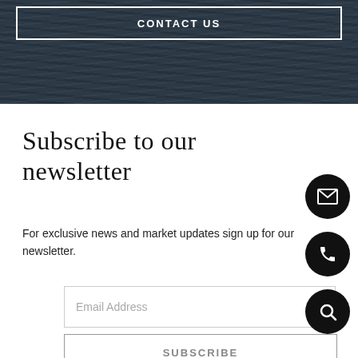[Figure (screenshot): Dark ocean water textured background with a white-bordered 'CONTACT US' button at the top]
Subscribe to our newsletter
For exclusive news and market updates sign up for our newsletter.
Email Address (input field placeholder)
SUBSCRIBE (button)